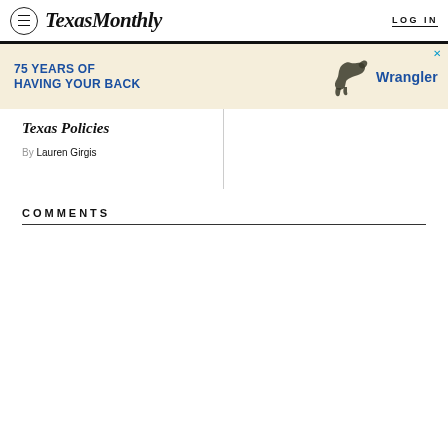Texas Monthly — LOG IN
[Figure (other): Wrangler advertisement banner: '75 YEARS OF HAVING YOUR BACK' with Wrangler logo and horse graphic]
Texas Policies
By Lauren Girgis
COMMENTS